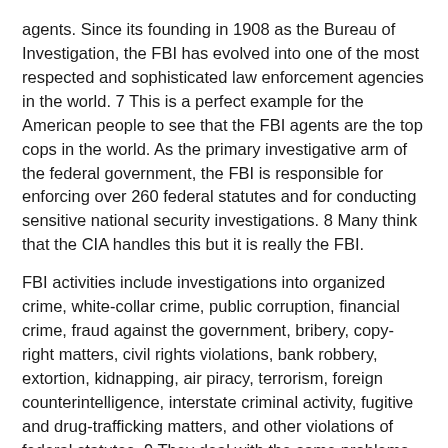agents. Since its founding in 1908 as the Bureau of Investigation, the FBI has evolved into one of the most respected and sophisticated law enforcement agencies in the world. 7 This is a perfect example for the American people to see that the FBI agents are the top cops in the world. As the primary investigative arm of the federal government, the FBI is responsible for enforcing over 260 federal statutes and for conducting sensitive national security investigations. 8 Many think that the CIA handles this but it is really the FBI.
FBI activities include investigations into organized crime, white-collar crime, public corruption, financial crime, fraud against the government, bribery, copy-right matters, civil rights violations, bank robbery, extortion, kidnapping, air piracy, terrorism, foreign counterintelligence, interstate criminal activity, fugitive and drug-trafficking matters, and other violations of federal statutes. 9 They deal with the same problems as many police officers do today but they deal with these crimes on a national level1. After its founding in 1908 the FBI had to deal with the Lawless years. These years fell from 1921 to 1933 this was basically when probation was in effect. The most largest criminals in the United States ran rampet around the country bootlegging alcohol. The two most